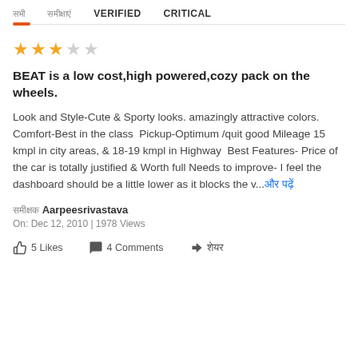सभी  समीक्षाएं  VERIFIED  CRITICAL
★★★☆☆
BEAT is a low cost,high powered,cozy pack on the wheels.
Look and Style-Cute & Sporty looks. amazingly attractive colors. Comfort-Best in the class  Pickup-Optimum /quit good Mileage 15 kmpl in city areas, & 18-19 kmpl in Highway  Best Features- Price of the car is totally justified & Worth full Needs to improve- I feel the dashboard should be a little lower as it blocks the v...और पढ़ें
समीक्षक Aarpeesrivastava
On: Dec 12, 2010 | 1978 Views
5 Likes  4 Comments  शेयर